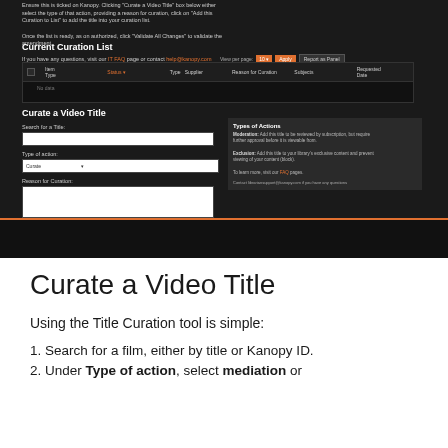[Figure (screenshot): Screenshot of a Kanopy library platform interface showing the 'Curate a Video Title' tool with a Current Curation List table, a search form for finding titles, type of action dropdown, reason for curation text area, and an Add to Curation List button. The interface uses a dark theme with orange accents. A footer bar shows navigation links (About, Librarians, Careers, Press, Contact, Support) and social media icons.]
Curate a Video Title
Using the Title Curation tool is simple:
Search for a film, either by title or Kanopy ID.
Under Type of action, select mediation or